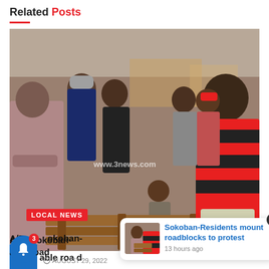Related Posts
[Figure (photo): Crowd of people gathered, including a child seated on wooden planks and people wearing red and black striped shirts. Watermark reads www.3news.com. Local News badge visible at bottom left.]
LOCAL NEWS
[Figure (photo): Notification popup showing thumbnail of same crowd scene with text: Sokoban-Residents mount roadblocks to protest, 13 hours ago]
A/R: Sokoban- residents protest bad road
AUGUST 29, 2022